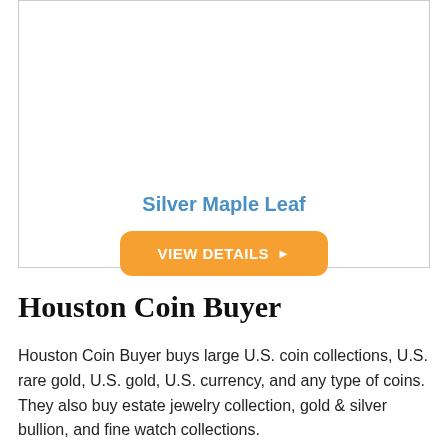[Figure (other): Product card box for Silver Maple Leaf coin with a title and a view details button]
Silver Maple Leaf
Houston Coin Buyer
Houston Coin Buyer buys large U.S. coin collections, U.S. rare gold, U.S. gold, U.S. currency, and any type of coins. They also buy estate jewelry collection, gold & silver bullion, and fine watch collections.